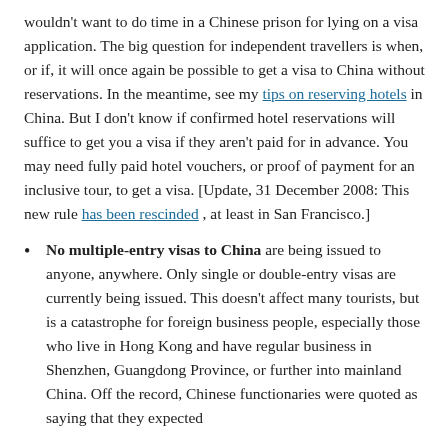wouldn't want to do time in a Chinese prison for lying on a visa application. The big question for independent travellers is when, or if, it will once again be possible to get a visa to China without reservations. In the meantime, see my tips on reserving hotels in China. But I don't know if confirmed hotel reservations will suffice to get you a visa if they aren't paid for in advance. You may need fully paid hotel vouchers, or proof of payment for an inclusive tour, to get a visa. [Update, 31 December 2008: This new rule has been rescinded , at least in San Francisco.]
No multiple-entry visas to China are being issued to anyone, anywhere. Only single or double-entry visas are currently being issued. This doesn't affect many tourists, but is a catastrophe for foreign business people, especially those who live in Hong Kong and have regular business in Shenzhen, Guangdong Province, or further into mainland China. Off the record, Chinese functionaries were quoted as saying that they expected